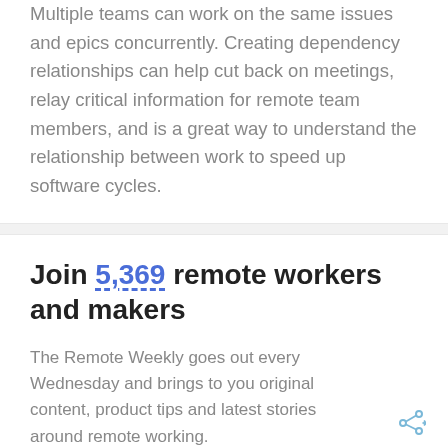Multiple teams can work on the same issues and epics concurrently. Creating dependency relationships can help cut back on meetings, relay critical information for remote team members, and is a great way to understand the relationship between work to speed up software cycles.
Join 5,369 remote workers and makers
The Remote Weekly goes out every Wednesday and brings to you original content, product tips and latest stories around remote working.
Enter your email